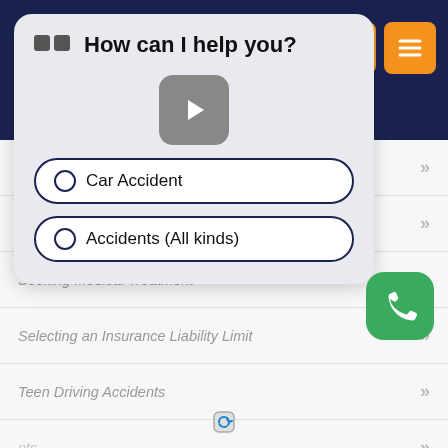[Figure (screenshot): Dark navy header bar with orange icon buttons (phone, search, menu) on the right]
[Figure (screenshot): Chatbot popup with title 'How can I help you?', a video play button, and two chat options: 'Car Accident' and 'Accidents (All kinds)']
Mistakes to Avoid
Rollover Accidents
Seeking Medical Treatment
Selecting an Insurance Liability Limit
Teen Driving Accidents
(partially visible item)
(partially visible - insurance)